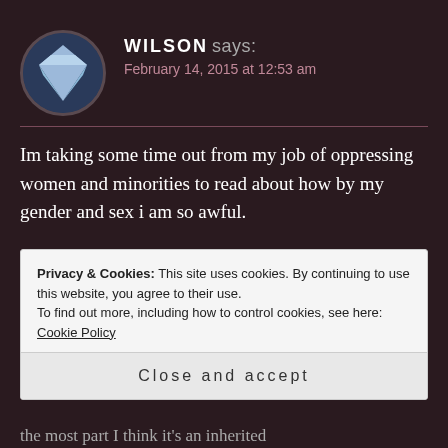[Figure (illustration): Circular avatar with a blue diamond/gem shape on dark background]
WILSON says:
February 14, 2015 at 12:53 am
Im taking some time out from my job of oppressing women and minorities to read about how by my gender and sex i am so awful.
★ Like
Privacy & Cookies: This site uses cookies. By continuing to use this website, you agree to their use.
To find out more, including how to control cookies, see here: Cookie Policy
Close and accept
the most part I think it's an inherited